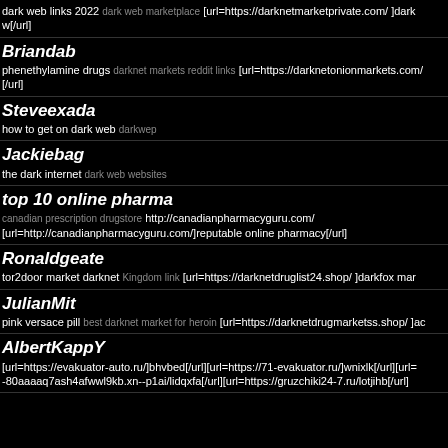dark web links 2022 dark web marketplace [url=https://darknetmarketprivate.com/ ]dark w[/url]
Briandab - phenethylamine drugs darknet markets reddit links [url=https://darknetonionmarkets.com/[/url]
Steveexada - how to get on dark web darkwep
Jackiebag - the dark internet dark web websites
top 10 online pharma - canadian prescription drugstore http://canadianpharmacyguru.com/ [url=http://canadianpharmacyguru.com/]reputable online pharmacy[/url]
Ronaldgeate - tor2door market darknet Kingdom link [url=https://darknetdruglist24.shop/ ]darkfox mar
JulianMit - pink versace pill best darknet market for heroin [url=https://darknetdrugmarketss.shop/ ]ac
AlbertKappY - [url=https://evakuator-auto.ru/]bhvbed[/url][url=https://71-evakuator.ru/]wnixlk[/url][url=-80aaaaq7ash4afwwl9kb.xn--p1ai/lidqxfa[/url][url=https://gruzchiki24-7.ru/lotjihb[/url]